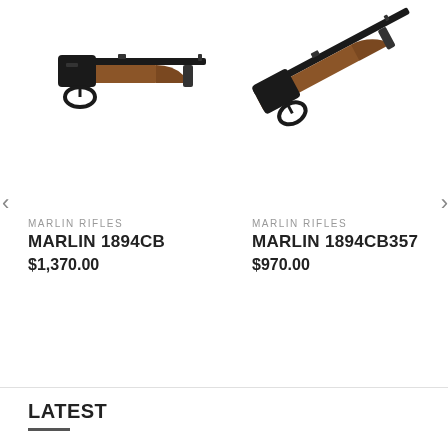[Figure (photo): Marlin 1894CB lever-action rifle with wooden stock, left side view, partial crop]
MARLIN RIFLES
MARLIN 1894CB
$1,370.00
[Figure (photo): Marlin 1894CB357 lever-action rifle with wooden stock, angled/diagonal view, partial crop]
MARLIN RIFLES
MARLIN 1894CB357
$970.00
LATEST